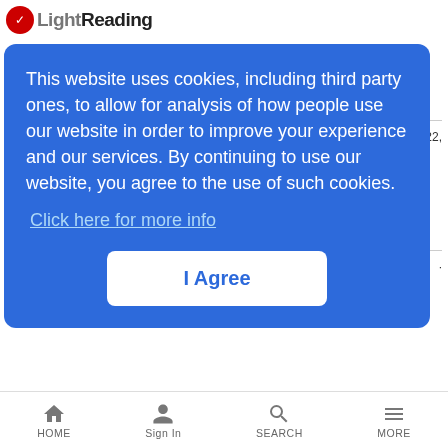Light Reading
This website uses cookies, including third party ones, to allow for analysis of how people use our website in order to improve your experience and our services. By continuing to use our website, you agree to the use of such cookies. Click here for more info
I Agree
Digital Symposium
ALL UPCOMING LIVE EVENTS
UPCOMING WEBINARS
August 30, 2022
HOME  Sign In  SEARCH  MORE